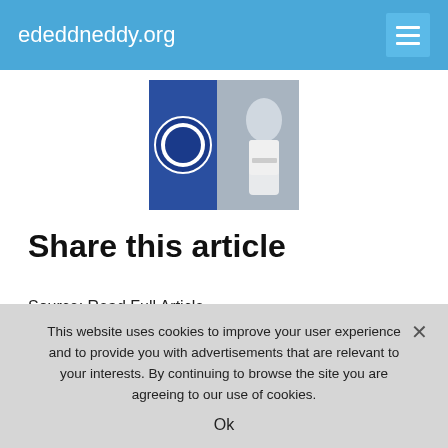ededdneddy.org
[Figure (photo): Thumbnail image showing a football player in white Real Madrid kit overlaid with an Everton FC badge on the left side]
Share this article
Source: Read Full Article
Related posts:
Sublime Dominic Calvert-Lewin tormented Thiago Silva and Edouard Mendy
This website uses cookies to improve your user experience and to provide you with advertisements that are relevant to your interests. By continuing to browse the site you are agreeing to our use of cookies.
Ok